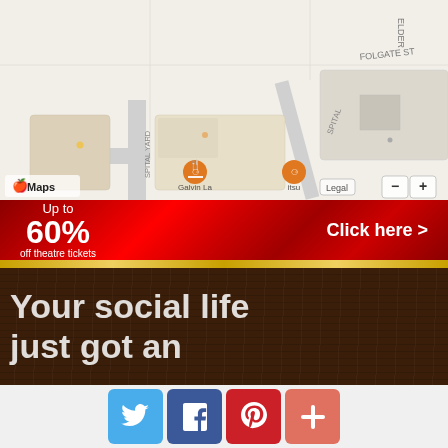[Figure (map): Apple Maps screenshot showing street map with FOLGATE ST, ELDER (street), SPITAL, SPITAL YARD labels, and restaurant markers for 'Galvin La' and 'itsu'. Roads shown in grey on beige background. Apple Maps logo, Legal button, and zoom controls visible.]
[Figure (screenshot): Advertisement banner with red theatre curtain background, text 'Up to 60% off theatre tickets' on left and 'Click here >' on right. Below is a dark wood-texture background with large white text 'Your social life just got an']
[Figure (infographic): Row of four social sharing buttons: Twitter (blue bird icon), Facebook (blue f icon), Pinterest (red P icon), and a coral/salmon plus (+) button for more sharing options.]